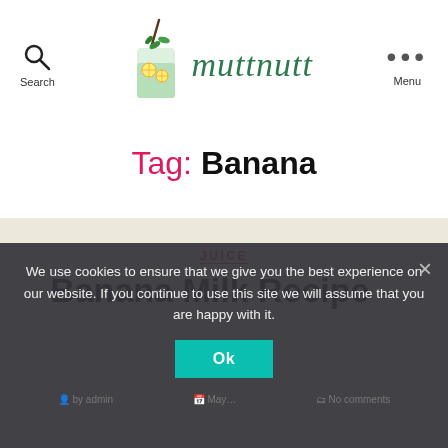Search | muttnutt | Menu
Tag: Banana
JUICE
Banana Milk Recipe –
We use cookies to ensure that we give you the best experience on our website. If you continue to use this site we will assume that you are happy with it.